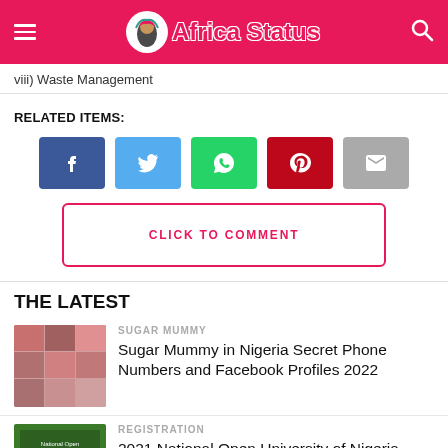Africa Status
viii) Waste Management
RELATED ITEMS:
[Figure (infographic): Social sharing buttons: Facebook, Twitter, WhatsApp, Pinterest, Email]
CLICK TO COMMENT
THE LATEST
SUGAR MUMMY
Sugar Mummy in Nigeria Secret Phone Numbers and Facebook Profiles 2022
REGISTRATION
2021 National Open University of Nigeria, NOUN Admission Application Form